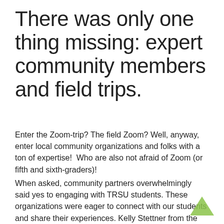There was only one thing missing: expert community members and field trips.
Enter the Zoom-trip? The field Zoom? Well, anyway, enter local community organizations and folks with a ton of expertise!  Who are also not afraid of Zoom (or fifth and sixth-graders)!
When asked, community partners overwhelmingly said yes to engaging with TRSU students. These organizations were eager to connect with our students and share their experiences. Kelly Stettner from the Black River Action Team was more than happy to answer students' questions about local